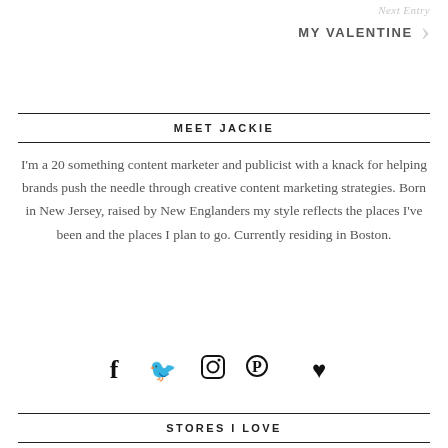Next Entry
MY VALENTINE
MEET JACKIE
I'm a 20 something content marketer and publicist with a knack for helping brands push the needle through creative content marketing strategies. Born in New Jersey, raised by New Englanders my style reflects the places I've been and the places I plan to go. Currently residing in Boston.
[Figure (infographic): Social media icons: Facebook, Twitter, Instagram, Pinterest, Heart/Bloglovin]
STORES I LOVE